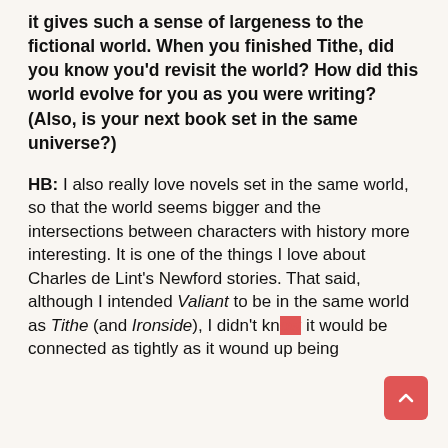it gives such a sense of largeness to the fictional world. When you finished Tithe, did you know you'd revisit the world? How did this world evolve for you as you were writing? (Also, is your next book set in the same universe?)
HB: I also really love novels set in the same world, so that the world seems bigger and the intersections between characters with history more interesting. It is one of the things I love about Charles de Lint's Newford stories. That said, although I intended Valiant to be in the same world as Tithe (and Ironside), I didn't know it would be connected as tightly as it wound up being